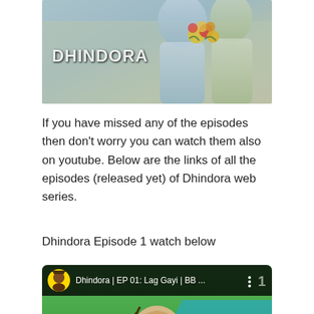[Figure (photo): Top banner image showing Dhindora web series promotional image with two people holding flowers. White bold text reads 'DHINDORA' with subtitle 'CREATED BY BHAWAN RAM'.]
If you have missed any of the episodes then don't worry you can watch them also on youtube. Below are the links of all the episodes (released yet) of Dhindora web series.
Dhindora Episode 1 watch below
[Figure (screenshot): YouTube video embed thumbnail for 'Dhindora | EP 01: Lag Gayi | BB ...' showing a person holding a lottery ticket in front of a green screen background with teal shape overlay and red ORE text. Yellow circular avatar with person icon visible in top bar. Large red YouTube play button in center. Bottom bar shows 'hase - 111...' text.]